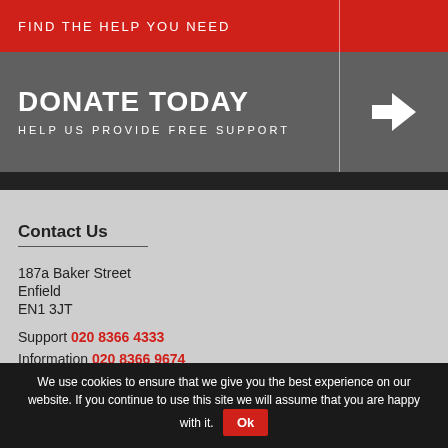FIND THE HELP YOU NEED
DONATE TODAY
HELP US PROVIDE FREE SUPPORT
Contact Us
187a Baker Street
Enfield
EN1 3JT
Support 020 8366 4333
Information 020 8366 9674
We use cookies to ensure that we give you the best experience on our website. If you continue to use this site we will assume that you are happy with it. Ok